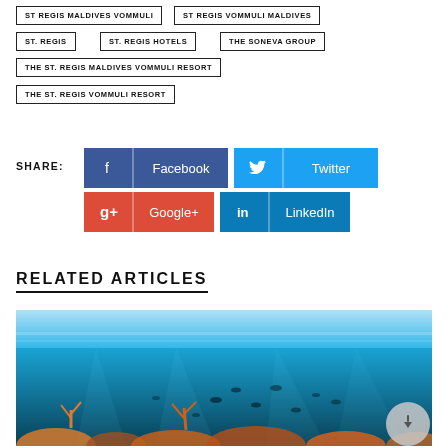ST REGIS MALDIVES VOMMULI
ST REGIS VOMMULI MALDIVES
ST. REGIS
ST. REGIS HOTELS
THE SONEVA GROUP
THE ST. REGIS MALDIVES VOMMULI RESORT
THE ST. REGIS VOMMULI RESORT
SHARE:
Facebook
Twitter
Google+
LinkedIn
RELATED ARTICLES
[Figure (photo): Underwater ocean scene with coral reef and fish in turquoise blue water]